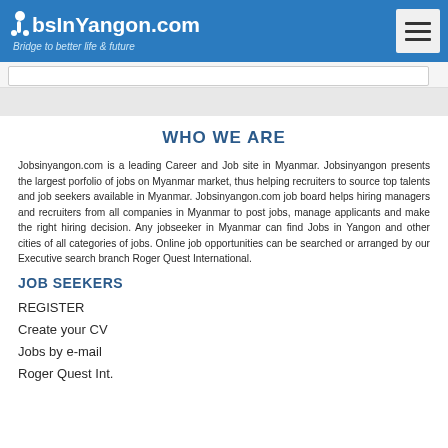JobsInYangon.com — Bridge to better life & future
WHO WE ARE
Jobsinyangon.com is a leading Career and Job site in Myanmar. Jobsinyangon presents the largest porfolio of jobs on Myanmar market, thus helping recruiters to source top talents and job seekers available in Myanmar. Jobsinyangon.com job board helps hiring managers and recruiters from all companies in Myanmar to post jobs, manage applicants and make the right hiring decision. Any jobseeker in Myanmar can find Jobs in Yangon and other cities of all categories of jobs. Online job opportunities can be searched or arranged by our Executive search branch Roger Quest International.
JOB SEEKERS
REGISTER
Create your CV
Jobs by e-mail
Roger Quest Int.